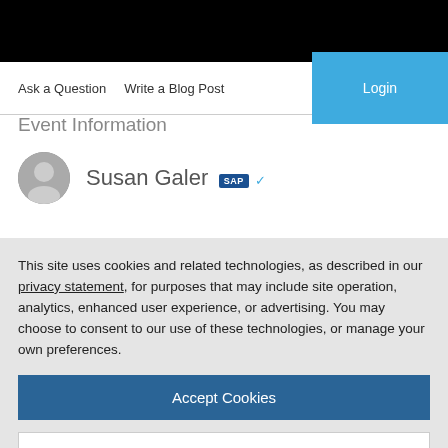Ask a Question   Write a Blog Post
Event Information
Susan Galer [SAP]
This site uses cookies and related technologies, as described in our privacy statement, for purposes that may include site operation, analytics, enhanced user experience, or advertising. You may choose to consent to our use of these technologies, or manage your own preferences.
Accept Cookies
More Information
Privacy Policy | Powered by: TrustArc